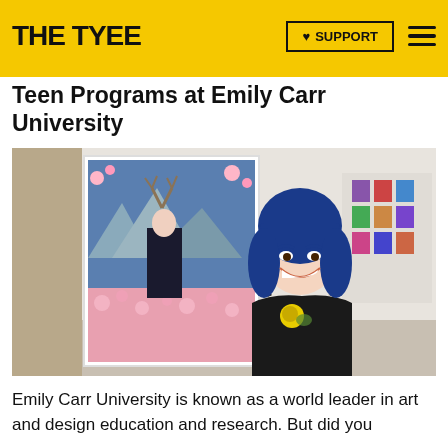THE TYEE
Teen Programs at Emily Carr University
[Figure (photo): A smiling young woman with blue hair and a black floral dress stands in front of a large colorful artwork in a gallery setting. The artwork behind her depicts a figure in black with a deer, surrounded by pink flowers and mountains.]
Emily Carr University is known as a world leader in art and design education and research. But did you